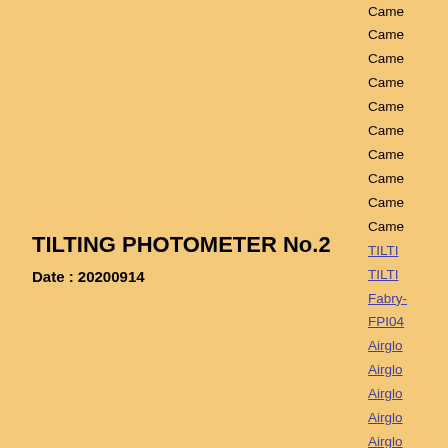TILTING PHOTOMETER No.2
Date : 20200914
Click figure to enlarge
Came...
Came...
Came...
Came...
Came...
Came...
Came...
Came...
Came...
Came...
TILTI...
TILTI...
Fabry-...
FPI04...
Airglo...
Airglo...
Airglo...
Airglo...
Airglo...
Airglo...
3-ch p...
3-ch p...